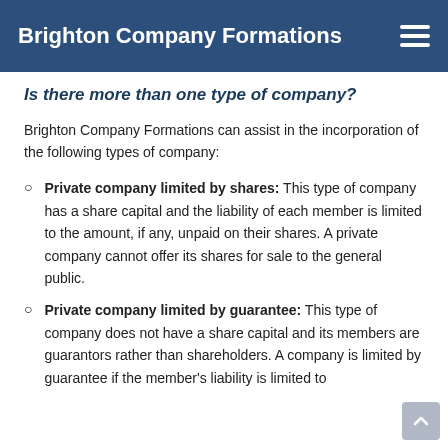Brighton Company Formations
Is there more than one type of company?
Brighton Company Formations can assist in the incorporation of the following types of company:
Private company limited by shares: This type of company has a share capital and the liability of each member is limited to the amount, if any, unpaid on their shares. A private company cannot offer its shares for sale to the general public.
Private company limited by guarantee: This type of company does not have a share capital and its members are guarantors rather than shareholders. A company is limited by guarantee if the member's liability is limited to